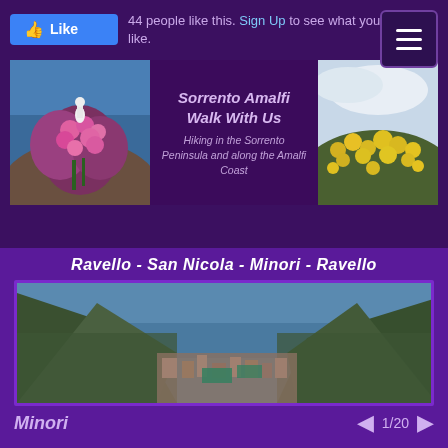[Figure (screenshot): Facebook Like button (blue) with thumbs up icon]
44 people like this. Sign Up to see what your friends like.
[Figure (infographic): Hamburger menu button (dark purple with three white lines)]
[Figure (photo): Photo of pink flowers on cliff with blue sea behind (Sorrento area)]
Sorrento Amalfi Walk With Us
Hiking in the Sorrento Peninsula and along the Amalfi Coast
[Figure (photo): Photo of yellow flowers on hillside with cloudy sky]
Ravello - San Nicola - Minori - Ravello
[Figure (photo): Aerial photo of Minori town on Amalfi coast hillside with sea view]
Minori
1/20